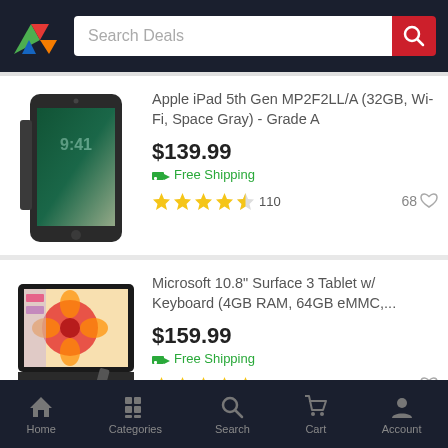Search Deals
[Figure (photo): Apple iPad 5th Gen in Space Gray showing lock screen with time 9:41]
Apple iPad 5th Gen MP2F2LL/A (32GB, Wi-Fi, Space Gray) - Grade A
$139.99
Free Shipping
110 reviews, 68 favorites
[Figure (photo): Microsoft Surface 3 Tablet with keyboard showing colorful flower image on screen]
Microsoft 10.8" Surface 3 Tablet w/ Keyboard (4GB RAM, 64GB eMMC,...
$159.99
Free Shipping
2 reviews, 23 favorites
Home | Categories | Search | Cart | Account